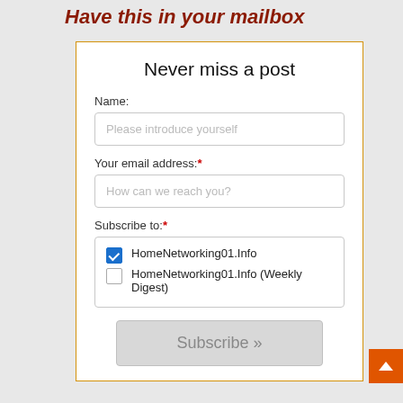Have this in your mailbox
Never miss a post
Name:
Please introduce yourself
Your email address:*
How can we reach you?
Subscribe to:*
HomeNetworking01.Info
HomeNetworking01.Info (Weekly Digest)
Subscribe »